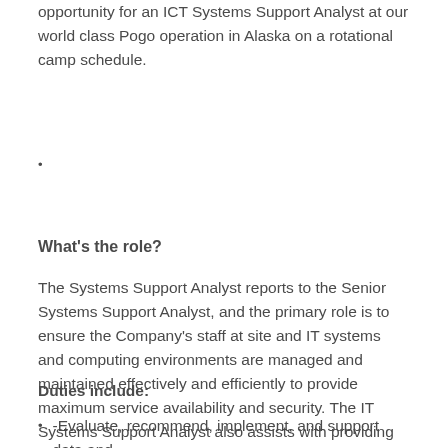opportunity for an ICT Systems Support Analyst at our world class Pogo operation in Alaska on a rotational camp schedule.
What's the role?
The Systems Support Analyst reports to the Senior Systems Support Analyst, and the primary role is to ensure the Company's staff at site and IT systems and computing environments are managed and maintained effectively and efficiently to provide maximum service availability and security. The IT Systems Support Analyst also assists with providing support users, desktops, laptops, printers, mobile devices, and common software applications used across all business units.
Duties include:
-Evaluate, recommend, implement, and support data and